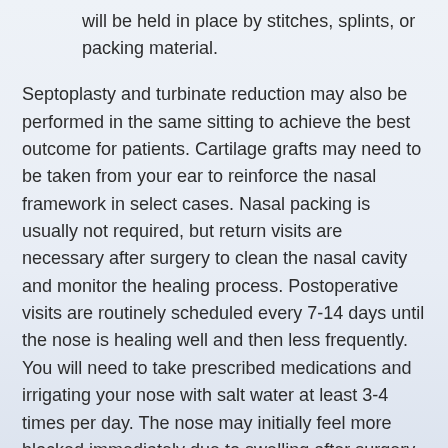will be held in place by stitches, splints, or packing material.
Septoplasty and turbinate reduction may also be performed in the same sitting to achieve the best outcome for patients. Cartilage grafts may need to be taken from your ear to reinforce the nasal framework in select cases. Nasal packing is usually not required, but return visits are necessary after surgery to clean the nasal cavity and monitor the healing process. Postoperative visits are routinely scheduled every 7-14 days until the nose is healing well and then less frequently. You will need to take prescribed medications and irrigating your nose with salt water at least 3-4 times per day. The nose may initially feel more blocked immediately due to swelling after surgery, but this will continue to improve over the next 3-4 weeks as the lining of the nose heals.
How do...Result Take To Re...